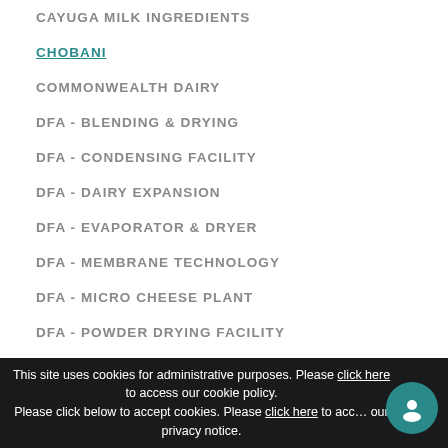CAYUGA MILK INGREDIENTS
CHOBANI
COMMONWEALTH DAIRY
DFA - BLENDING & DRYING
DFA - CONDENSING FACILITY
DFA - DAIRY EXPANSION
DFA - EVAPORATOR & DRYER
DFA - MEMBRANE TECHNOLOGY
DFA - MICRO CHEESE PLANT
DFA - POWDER DRYING FACILITY
EHRMANN'S ARIZONA DAIRY
HUMBOLDT CREAMERY
This site uses cookies for administrative purposes. Please click here to access our cookie policy. Please click below to accept cookies. Please click here to access our privacy notice.